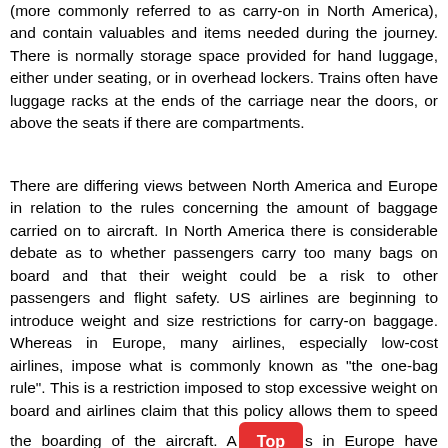(more commonly referred to as carry-on in North America), and contain valuables and items needed during the journey. There is normally storage space provided for hand luggage, either under seating, or in overhead lockers. Trains often have luggage racks at the ends of the carriage near the doors, or above the seats if there are compartments.
There are differing views between North America and Europe in relation to the rules concerning the amount of baggage carried on to aircraft. In North America there is considerable debate as to whether passengers carry too many bags on board and that their weight could be a risk to other passengers and flight safety. US airlines are beginning to introduce weight and size restrictions for carry-on baggage. Whereas in Europe, many airlines, especially low-cost airlines, impose what is commonly known as "the one-bag rule". This is a restriction imposed to stop excessive weight on board and airlines claim that this policy allows them to speed the boarding of the aircraft. A[Top]s in Europe have mounted a campaign with the [European] Commission in an attempt to overturn these hand luggage